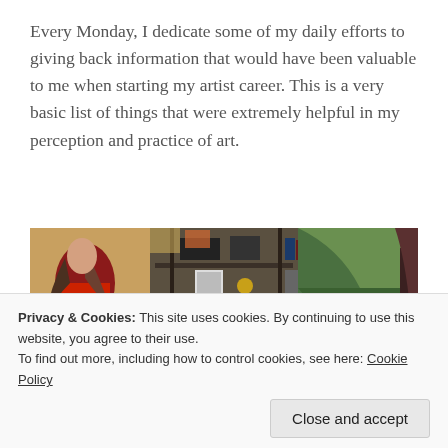Every Monday, I dedicate some of my daily efforts to giving back information that would have been valuable to me when starting my artist career. This is a very basic list of things that were extremely helpful in my perception and practice of art.
[Figure (photo): An artist's studio with paintings in progress on the left and right sides, and shelving with art supplies and equipment in the center background.]
Privacy & Cookies: This site uses cookies. By continuing to use this website, you agree to their use. To find out more, including how to control cookies, see here: Cookie Policy